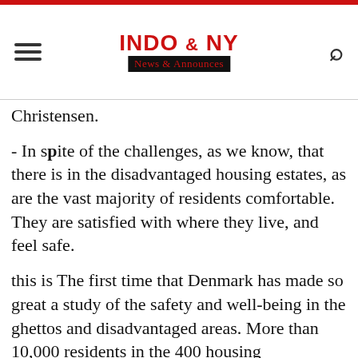INDO & NY News & Announces
Christensen.
- In spite of the challenges, as we know, that there is in the disadvantaged housing estates, as are the vast majority of residents comfortable. They are satisfied with where they live, and feel safe.
this is The first time that Denmark has made so great a study of the safety and well-being in the ghettos and disadvantaged areas. More than 10,000 residents in the 400 housing departments across the country involved.
the Most comfortable families with children, residents with ikkevestlig background and perhaps more surprisingly, the oldest residents.
The majority of elderly people are confident and...